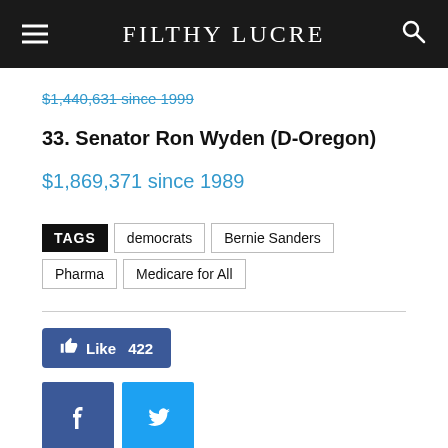FILTHY LUCRE
$1,440,631 since 1999
33. Senator Ron Wyden (D-Oregon)
$1,869,371 since 1989
TAGS  democrats  Bernie Sanders  Pharma  Medicare for All
[Figure (other): Facebook Like button showing 422 likes, Facebook share button, and Twitter share button]